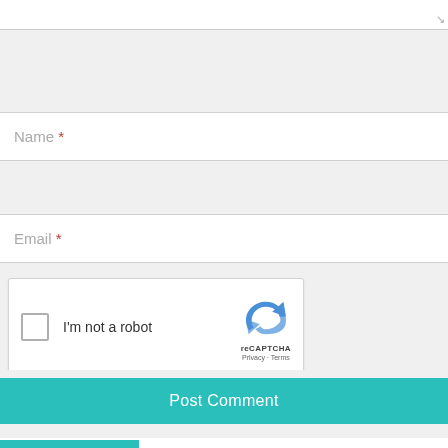[Figure (screenshot): Partial textarea input field stub at top of page]
Name *
Email *
[Figure (other): reCAPTCHA widget with checkbox 'I'm not a robot' and reCAPTCHA logo with Privacy and Terms links]
Post Comment
PMR Exclusive
The sector at the threshold of large investments in the time